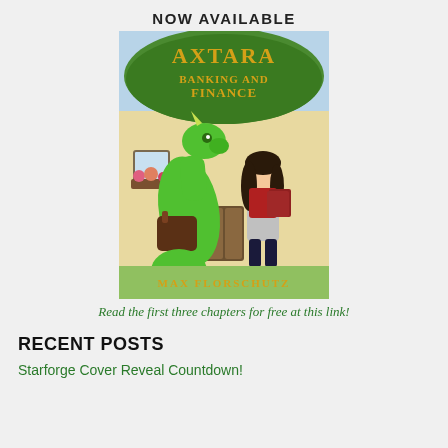NOW AVAILABLE
[Figure (illustration): Book cover for 'Axtara Banking and Finance' by Max Florschutz. Shows a green dragon carrying a satchel and a young girl with dark hair holding books, standing in front of a building with a green awning that reads 'Axtara Banking and Finance'. Title is in gold lettering on the awning. Author name 'MAX FLORSCHUTZ' appears at the bottom in gold.]
Read the first three chapters for free at this link!
RECENT POSTS
Starforge Cover Reveal Countdown!